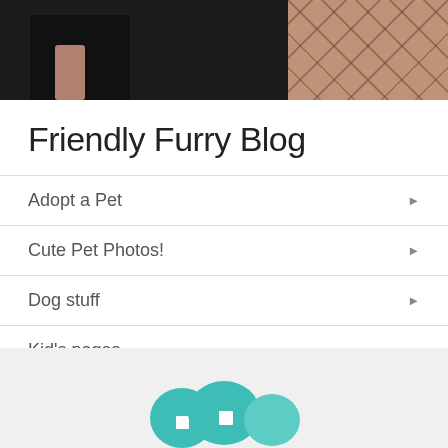[Figure (photo): Partial top image showing a person in dark clothing against a dark background with tiled/wooden floor visible in the top right corner]
Friendly Furry Blog
Adopt a Pet
Cute Pet Photos!
Dog stuff
Kid's pages
Kittens & Cats
Wild Critters
[Figure (logo): Teal/turquoise stylized animal head shapes logo in the footer area]